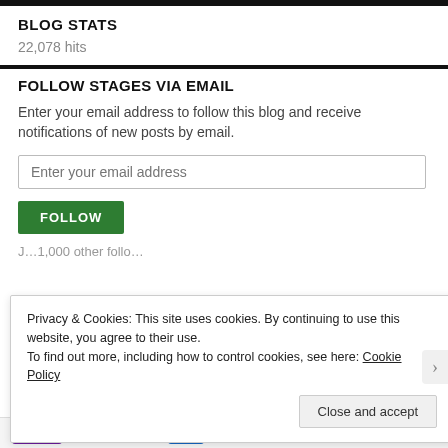BLOG STATS
22,078 hits
FOLLOW STAGES VIA EMAIL
Enter your email address to follow this blog and receive notifications of new posts by email.
Enter your email address
FOLLOW
Privacy & Cookies: This site uses cookies. By continuing to use this website, you agree to their use.
To find out more, including how to control cookies, see here: Cookie Policy
Close and accept